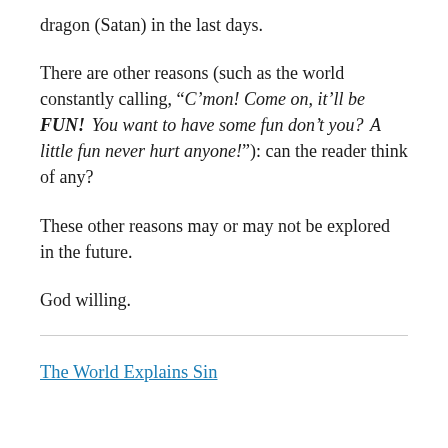dragon (Satan) in the last days.
There are other reasons (such as the world constantly calling, “C’mon! Come on, it’ll be FUN! You want to have some fun don’t you? A little fun never hurt anyone!”): can the reader think of any?
These other reasons may or may not be explored in the future.
God willing.
The World Explains Sin